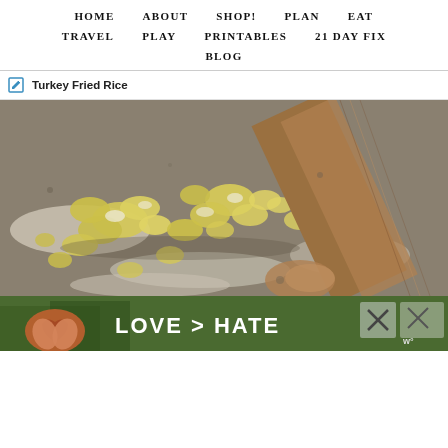HOME   ABOUT   SHOP!   PLAN   EAT
TRAVEL   PLAY   PRINTABLES   21 DAY FIX
BLOG
Turkey Fried Rice
[Figure (photo): Close-up photo of scrambled eggs being cooked and stirred with a wooden spoon on a flat cooking surface, showing yellow egg curds scattered around]
[Figure (photo): Advertisement banner with green forest background, hands forming a heart shape, and text LOVE > HATE with close buttons]